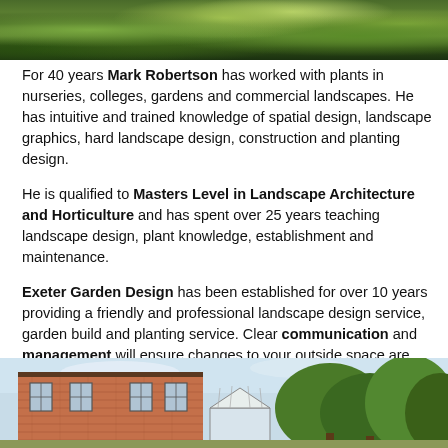[Figure (photo): Top photo showing lush green garden plants and foliage]
For 40 years Mark Robertson has worked with plants in nurseries, colleges, gardens and commercial landscapes. He has intuitive and trained knowledge of spatial design, landscape graphics, hard landscape design, construction and planting design.
He is qualified to Masters Level in Landscape Architecture and Horticulture and has spent over 25 years teaching landscape design, plant knowledge, establishment and maintenance.
Exeter Garden Design has been established for over 10 years providing a friendly and professional landscape design service, garden build and planting service. Clear communication and management will ensure changes to your outside space are engaging and enjoyable.
[Figure (photo): Bottom photo showing a red brick house and conservatory with trees in the background]